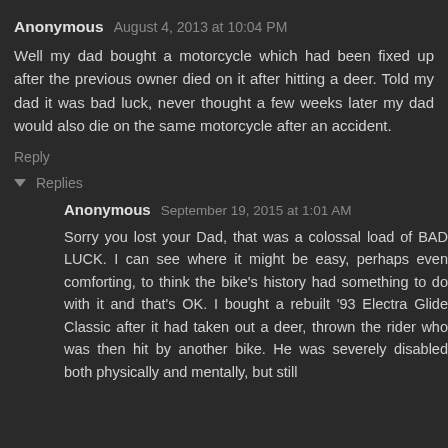Anonymous  August 4, 2013 at 10:04 PM
Well my dad bought a motorcycle which had been fixed up after the previous owner died on it after hitting a deer. Told my dad it was bad luck, never thought a few weeks later my dad would also die on the same motorcycle after an accident.
Reply
▼ Replies
Anonymous  September 19, 2015 at 1:01 AM
Sorry you lost your Dad, that was a colossal load of BAD LUCK. I can see where it might be easy, perhaps even comforting, to think the bike's history had something to do with it and that's OK. I bought a rebuilt '93 Electra Glide Classic after it had taken out a deer, thrown the rider who was then hit by another bike. He was severely disabled both physically and mentally, but still